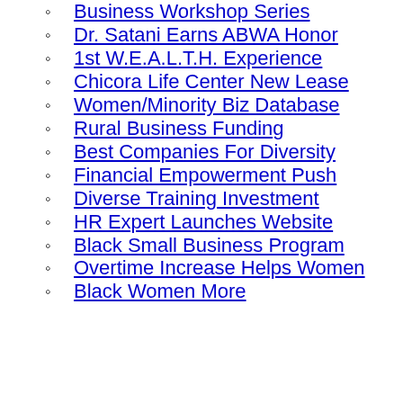Business Workshop Series
Dr. Satani Earns ABWA Honor
1st W.E.A.L.T.H. Experience
Chicora Life Center New Lease
Women/Minority Biz Database
Rural Business Funding
Best Companies For Diversity
Financial Empowerment Push
Diverse Training Investment
HR Expert Launches Website
Black Small Business Program
Overtime Increase Helps Women
Black Women More